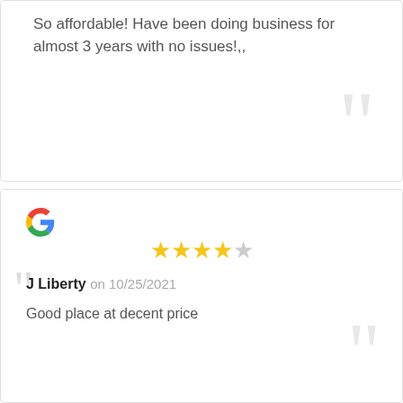So affordable! Have been doing business for almost 3 years with no issues!,,
J Liberty on 10/25/2021
Good place at decent price